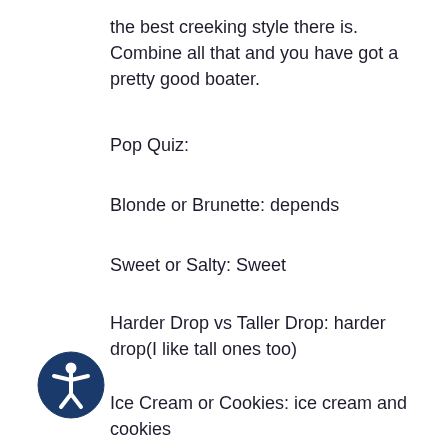the best creeking style there is. Combine all that and you have got a pretty good boater.
Pop Quiz:
Blonde or Brunette: depends
Sweet or Salty: Sweet
Harder Drop vs Taller Drop: harder drop(I like tall ones too)
Ice Cream or Cookies: ice cream and cookies
[Figure (illustration): Accessibility icon: circular dark blue badge with a white stick figure person with arms outstretched]